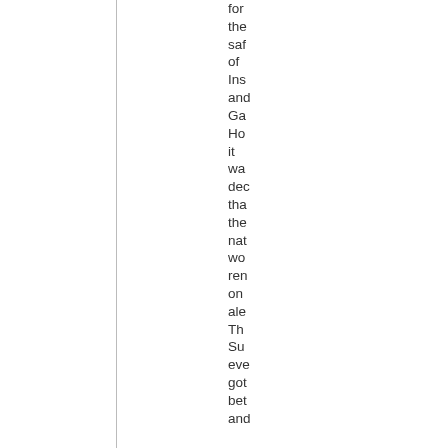for the saf of Ins and Ga Ho it wa dec tha the nat wo ren on ale Th Su eve got bet and